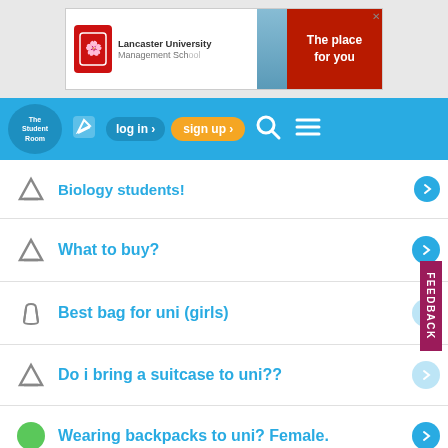[Figure (screenshot): Lancaster University Management School advertisement banner with red logo, university building photo, and 'The place for you' red call-to-action]
[Figure (screenshot): The Student Room website navigation bar with logo, edit icon, log in button, sign up button, search icon, and hamburger menu]
Biology students!
What to buy?
Best bag for uni (girls)
Do i bring a suitcase to uni??
Wearing backpacks to uni? Female.
School in Spalding bans backpacks for health ...
Sixth form supplies?
traveling with contact lenses